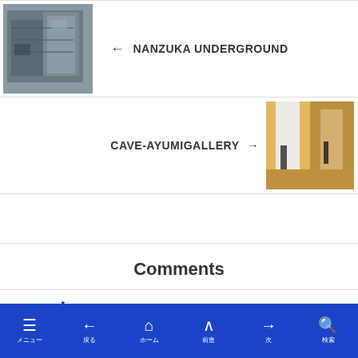[Figure (photo): Photo of Nanzuka Underground exterior building with metal/industrial facade]
← NANZUKA UNDERGROUND
[Figure (photo): Photo of Cave-Ayumi Gallery interior with warm wood tones and white walls]
CAVE-AYUMIGALLERY →
Comments
Comment *
メニュー 戻る ホーム 前進 次 検索